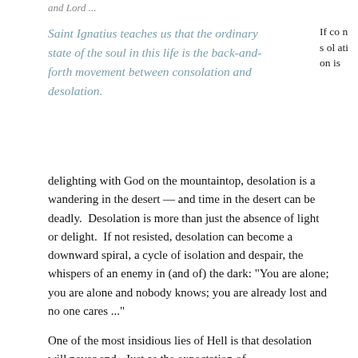and Lord ...
Saint Ignatius teaches us that the ordinary state of the soul in this life is the back-and-forth movement between consolation and desolation.
If consolation is delighting with God on the mountaintop, desolation is a wandering in the desert — and time in the desert can be deadly.  Desolation is more than just the absence of light or delight.  If not resisted, desolation can become a downward spiral, a cycle of isolation and despair, the whispers of an enemy in (and of) the dark: "You are alone; you are alone and nobody knows; you are already lost and no one cares ..."
One of the most insidious lies of Hell is that desolation will never end.  Just as the expectation of